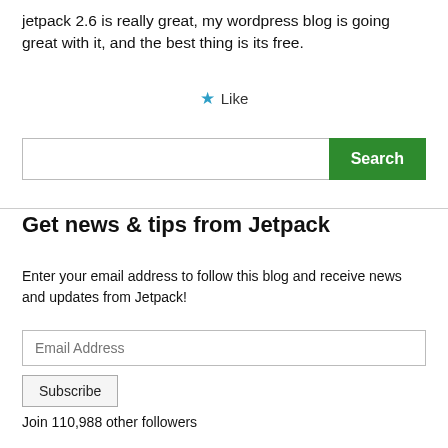jetpack 2.6 is really great, my wordpress blog is going great with it, and the best thing is its free.
★ Like
[Figure (other): Search input field with green Search button]
Get news & tips from Jetpack
Enter your email address to follow this blog and receive news and updates from Jetpack!
[Figure (other): Email Address input field]
[Figure (other): Subscribe button]
Join 110,988 other followers